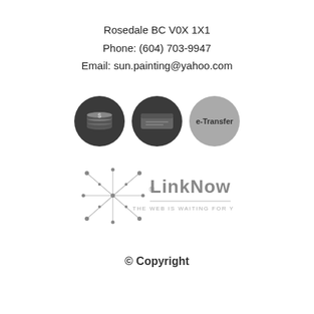Rosedale BC V0X 1X1
Phone: (604) 703-9947
Email: sun.painting@yahoo.com
[Figure (infographic): Three circular payment icons: cash/money icon (dark), cheque icon (dark), and e-Transfer icon (light grey)]
[Figure (logo): LinkNow logo with network/web graphic and tagline: THE WEB IS WAITING FOR YOU.]
© Copyright